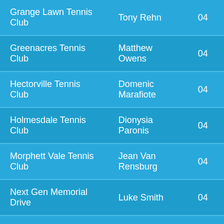| Club/Venue | Contact | Phone |
| --- | --- | --- |
| Grange Lawn Tennis Club | Tony Rehn | 04… |
| Greenacres Tennis Club | Matthew Owens | 04… |
| Hectorville Tennis Club | Domenic Marafiote | 04… |
| Holmesdale Tennis Club | Dionysia Paronis | 04… |
| Morphett Vale Tennis Club | Jean Van Rensburg | 04… |
| Next Gen Memorial Drive | Luke Smith | 04… |
| Pembroke School | Paul Baccanello | 04… |
| Playford Tennis Centre | Martin Harasek | (0… |
| Seaside Tennis Club | Hazuan Hizan | 04… |
| Tennis World Millswood | Jesper Fjeldstad | 04… |
| Various Primary Schools | Shane Stokes | 04… |
| West Lakes Tennis Club | Shannon Cox | 04… |
| Woodville Orion Club | Craig Palfrey | 04… |